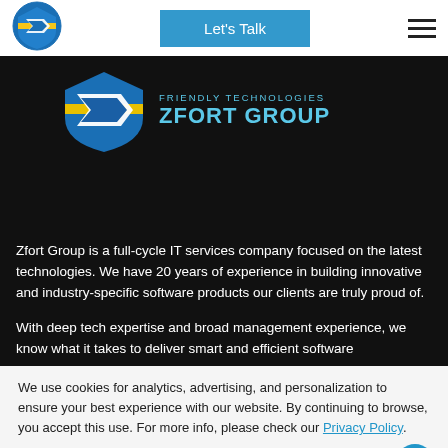[Figure (logo): Zfort Group shield logo with blue/yellow colors]
Let's Talk
[Figure (logo): Zfort Group - Friendly Technologies full logo on dark background]
Zfort Group is a full-cycle IT services company focused on the latest technologies. We have 20 years of experience in building innovative and industry-specific software products our clients are truly proud of.
With deep tech expertise and broad management experience, we know what it takes to deliver smart and efficient software
We use cookies for analytics, advertising, and personalization to ensure your best experience with our website. By continuing to browse, you accept this use. For more info, please check our Privacy Policy.
Agree